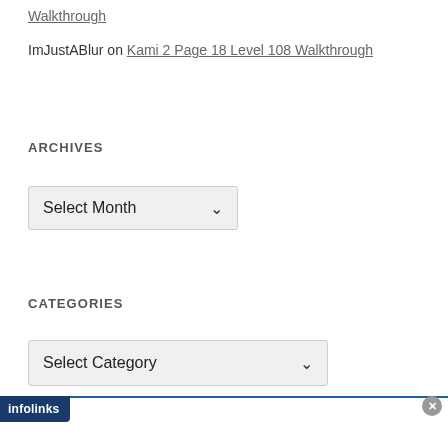Walkthrough
ImJustABlur on Kami 2 Page 18 Level 108 Walkthrough
ARCHIVES
[Figure (screenshot): Select Month dropdown UI element]
CATEGORIES
[Figure (screenshot): Select Category dropdown UI element]
[Figure (screenshot): Infolinks ad banner with MapQuest Local Accountancy Firms advertisement and OPEN button]